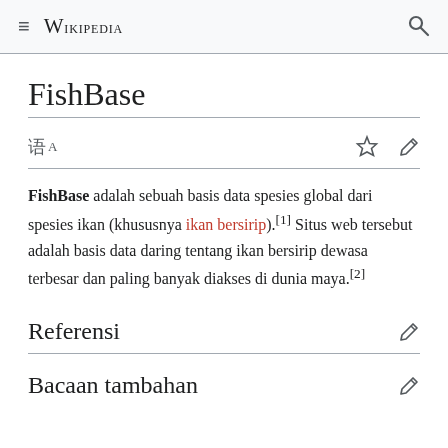≡ Wikipedia 🔍
FishBase
🌐A ☆ ✏
FishBase adalah sebuah basis data spesies global dari spesies ikan (khususnya ikan bersirip).[1] Situs web tersebut adalah basis data daring tentang ikan bersirip dewasa terbesar dan paling banyak diakses di dunia maya.[2]
Referensi
Bacaan tambahan